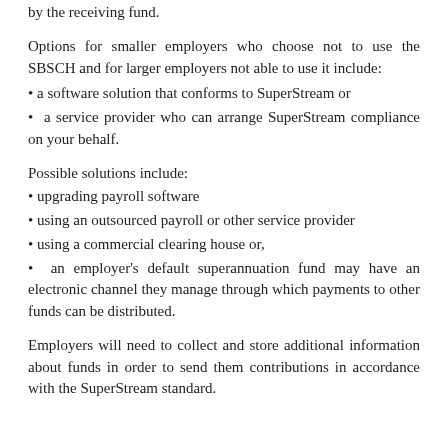by the receiving fund.
Options for smaller employers who choose not to use the SBSCH and for larger employers not able to use it include:
a software solution that conforms to SuperStream or
a service provider who can arrange SuperStream compliance on your behalf.
Possible solutions include:
upgrading payroll software
using an outsourced payroll or other service provider
using a commercial clearing house or,
an employer's default superannuation fund may have an electronic channel they manage through which payments to other funds can be distributed.
Employers will need to collect and store additional information about funds in order to send them contributions in accordance with the SuperStream standard.